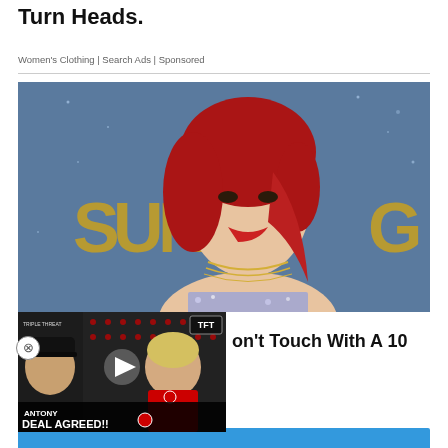Turn Heads.
Women's Clothing | Search Ads | Sponsored
[Figure (photo): Red-haired woman in strapless outfit with layered necklaces at an event, blue starry background with gold letters SUN and G]
[Figure (screenshot): Video thumbnail showing two men, one in black hat and one in red Manchester United kit, with text ANTONY DEAL AGREED!! AJAX TO MAN UNITED and TFT logo, play button overlay]
on't Touch With A 10
[Figure (other): Blue banner strip at bottom of page]